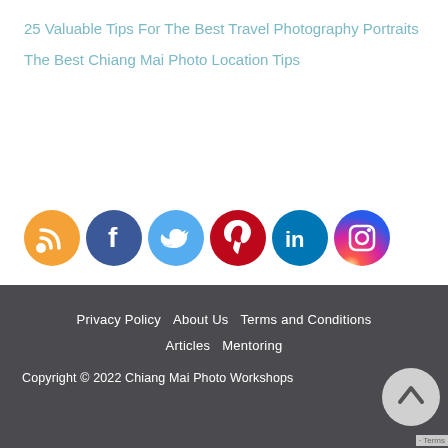25 Valuable Tips For The Best Travel Photography Portraits
The Best Chiang Mai Photo Location Tips
[Figure (infographic): Row of 6 social media icon circles: RSS (orange), Facebook (blue), Twitter (light blue), Pinterest (red), LinkedIn (blue), Instagram (gradient purple-orange)]
Privacy Policy   About Us   Terms and Conditions   Articles   Mentoring
Copyright © 2022 Chiang Mai Photo Workshops